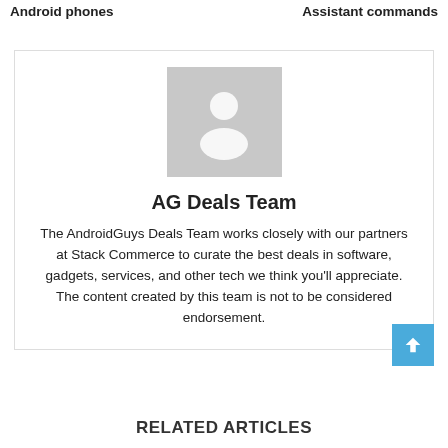Android phones
Assistant commands
[Figure (illustration): Gray placeholder avatar image with a person silhouette icon (head and shoulders) on a gray background]
AG Deals Team
The AndroidGuys Deals Team works closely with our partners at Stack Commerce to curate the best deals in software, gadgets, services, and other tech we think you'll appreciate. The content created by this team is not to be considered endorsement.
RELATED ARTICLES